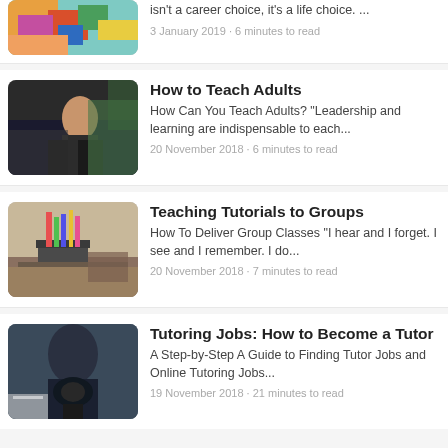[Figure (photo): Partial top card: colorful world map photo]
isn't a career choice, it's a life choice. ...
3 January 2019 · 6 minutes to read
[Figure (photo): Man in suit sitting, smiling outdoors]
How to Teach Adults
How Can You Teach Adults? "Leadership and learning are indispensable to each...
20 November 2018 · 6 minutes to read
[Figure (photo): Desk with pencil holder containing colorful pens and pencils]
Teaching Tutorials to Groups
How To Deliver Group Classes "I hear and I forget. I see and I remember. I do...
20 November 2018 · 7 minutes to read
[Figure (photo): Person holding a camera outdoors]
Tutoring Jobs: How to Become a Tutor
A Step-by-Step A Guide to Finding Tutor Jobs and Online Tutoring Jobs...
19 November 2018 · 21 minutes to read